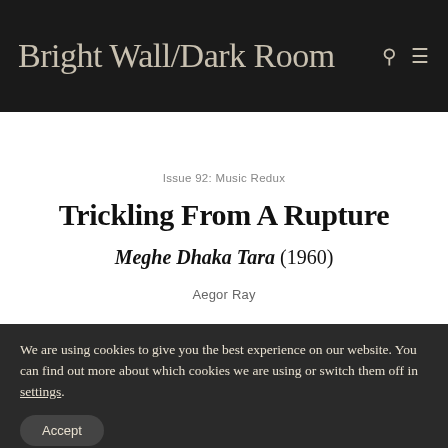Bright Wall/Dark Room
Issue 92: Music Redux
Trickling From A Rupture
Meghe Dhaka Tara (1960)
Aegor Ray
[Figure (photo): Dark black-and-white image showing a fence/wire mesh and a partial figure]
We are using cookies to give you the best experience on our website. You can find out more about which cookies we are using or switch them off in settings.